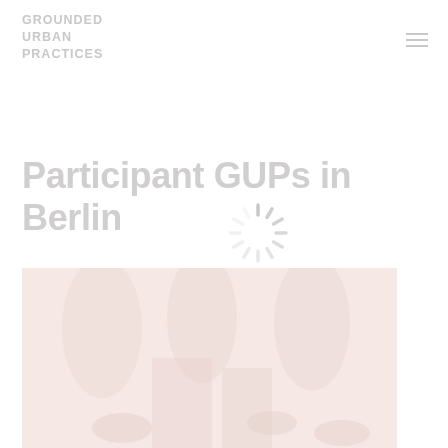GROUNDED URBAN PRACTICES
Participant GUPs in Berlin
[Figure (other): Loading spinner icon — circular arrangement of radial dashes in light gray]
[Figure (photo): Faded pinkish-beige photograph of an outdoor urban scene with trees and people]